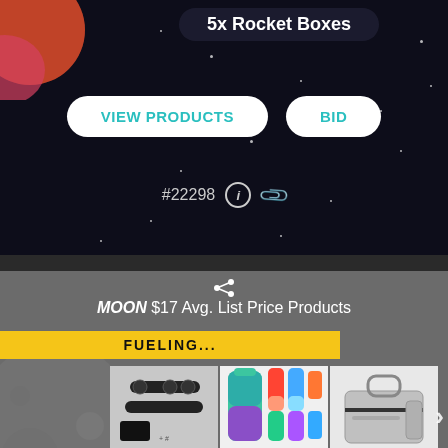[Figure (screenshot): Top section with space/dark background showing '5x Rocket Boxes' title badge, VIEW PRODUCTS and BID buttons, auction ID #22298 with info and clip icons]
5x Rocket Boxes
VIEW PRODUCTS
BID
#22298
[Figure (screenshot): Bottom section with gray background showing Moon $17 Avg. List Price Products header, FUELING... yellow bar, moon graphic, and product photo grid with keychain tool, water bottles, lunchbox, pulse oximeter]
MOON $17 Avg. List Price Products
FUELING...